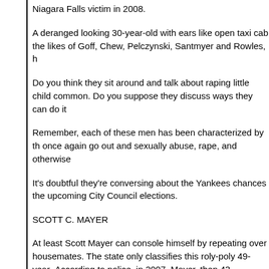Niagara Falls victim in 2008.
A deranged looking 30-year-old with ears like open taxi cab the likes of Goff, Chew, Pelczynski, Santmyer and Rowles, h
Do you think they sit around and talk about raping little child common. Do you suppose they discuss ways they can do it
Remember, each of these men has been characterized by th once again go out and sexually abuse, rape, and otherwise
It’s doubtful they’re conversing about the Yankees chances the upcoming City Council elections.
SCOTT C. MAYER
At least Scott Mayer can console himself by repeating over housemates. The state only classifies this roly-poly 49-year- According to police, in 2007, Mayer, then 43, repeatedly had something his mother is likely very proud of.